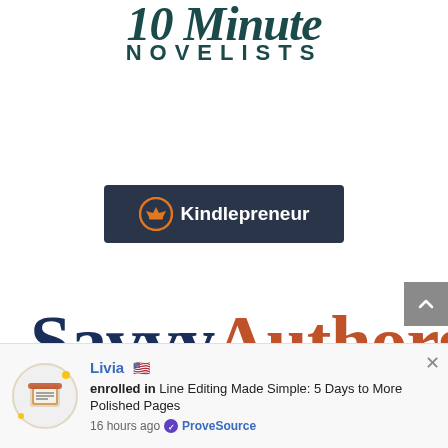[Figure (logo): 10 Minute Novelists logo with stylized script text and 'NOVELISTS' in spaced caps]
[Figure (logo): Kindlepreneur logo on dark navy background with orange crown circle icon]
[Figure (logo): SavvyAuthors logo with dark navy 'Savvy' and coral/orange 'Authors' in large serif font]
Livia 🇺🇸
enrolled in Line Editing Made Simple: 5 Days to More Polished Pages
16 hours ago ✅ ProveSource